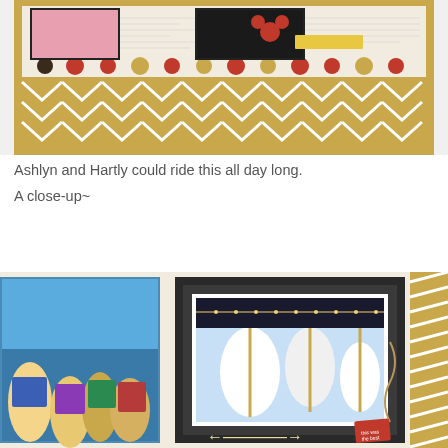[Figure (photo): Scrapbook page showing photos with gold chevron patterned background, polka dot border strip, and Disney-themed embellishments including Minnie Mouse elements. Photos show flowers and Disney memorabilia.]
Ashlyn and Hartly could ride this all day long.
A close-up~
[Figure (photo): Close-up of scrapbook page showing carousel/merry-go-round photo in dark gray mat frame with twine bow embellishment, against a newsprint and polka dot patterned background. Side photo shows crowd at Disney park.]